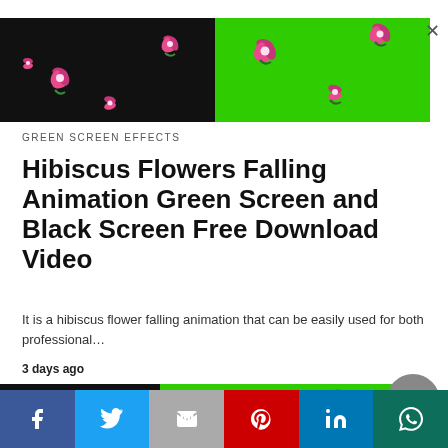[Figure (screenshot): Hibiscus flowers falling animation preview banner — left half black background, right half green screen, with pink hibiscus flowers scattered across]
GREEN SCREEN EFFECTS
Hibiscus Flowers Falling Animation Green Screen and Black Screen Free Download Video
It is a hibiscus flower falling animation that can be easily used for both professional…
3 days ago
[Figure (screenshot): Second hibiscus flowers falling animation preview banner — left black background, right green screen with pink flowers]
[Figure (screenshot): Social share bar with Facebook, Twitter, Email, Pinterest, LinkedIn, WhatsApp buttons]